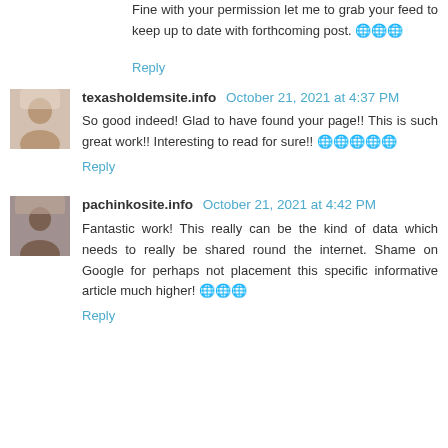Fine with your permission let me to grab your feed to keep up to date with forthcoming post. 🌐🌐🌐
Reply
texasholdemsite.info October 21, 2021 at 4:37 PM
So good indeed! Glad to have found your page!! This is such great work!! Interesting to read for sure!! 🌐🌐🌐🌐🌐
Reply
pachinkosite.info October 21, 2021 at 4:42 PM
Fantastic work! This really can be the kind of data which needs to really be shared round the internet. Shame on Google for perhaps not placement this specific informative article much higher! 🌐🌐🌐
Reply